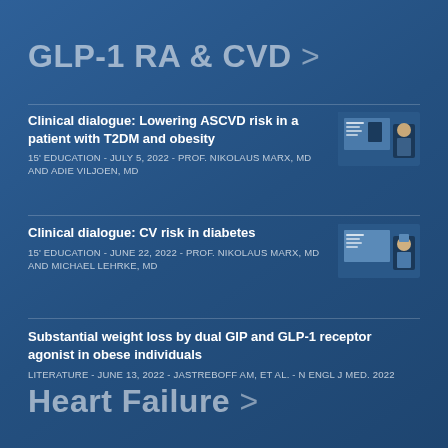GLP-1 RA & CVD >
Clinical dialogue: Lowering ASCVD risk in a patient with T2DM and obesity
15' EDUCATION - JULY 5, 2022 - PROF. NIKOLAUS MARX, MD AND ADIE VILJOEN, MD
[Figure (screenshot): Thumbnail image of video with presenter and slide]
Clinical dialogue: CV risk in diabetes
15' EDUCATION - JUNE 22, 2022 - PROF. NIKOLAUS MARX, MD AND MICHAEL LEHRKE, MD
[Figure (screenshot): Thumbnail image of video with presenter and slide]
Substantial weight loss by dual GIP and GLP-1 receptor agonist in obese individuals
LITERATURE - JUNE 13, 2022 - JASTREBOFF AM, ET AL. - N ENGL J MED. 2022
Heart Failure >